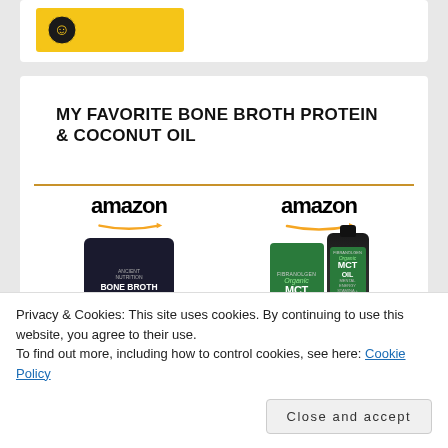[Figure (photo): Partial view of a product card with a yellow/gold banner image at top]
MY FAVORITE BONE BROTH PROTEIN & COCONUT OIL
[Figure (photo): Amazon logo with orange arrow above Bone Broth Collagen product container (dark blue/black)]
[Figure (photo): Amazon logo with orange arrow above Organic MCT Oil products (green box and dark bottle)]
Collagen
Organic MCT Oil
Privacy & Cookies: This site uses cookies. By continuing to use this website, you agree to their use.
To find out more, including how to control cookies, see here: Cookie Policy
Close and accept